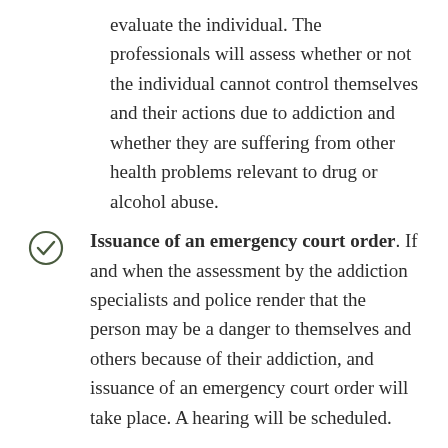evaluate the individual. The professionals will assess whether or not the individual cannot control themselves and their actions due to addiction and whether they are suffering from other health problems relevant to drug or alcohol abuse.
Issuance of an emergency court order. If and when the assessment by the addiction specialists and police render that the person may be a danger to themselves and others because of their addiction, and issuance of an emergency court order will take place. A hearing will be scheduled.
Scheduled hearing. On the hearing...